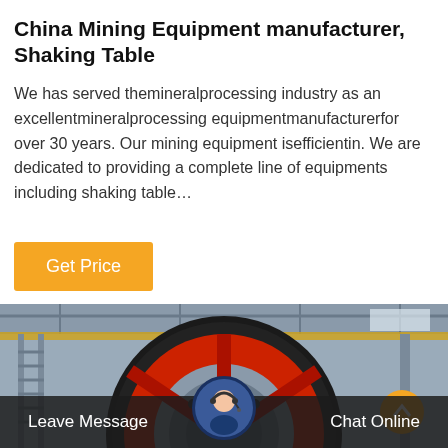China Mining Equipment manufacturer, Shaking Table
We has served themineralprocessing industry as an excellentmineralprocessing equipmentmanufacturerfor over 30 years. Our mining equipment isefficientin. We are dedicated to providing a complete line of equipments including shaking table…
[Figure (other): Orange 'Get Price' button]
[Figure (photo): Large industrial mining machine with a red gear wheel/ring in a factory setting with cranes and steel structure in background]
Leave Message
Chat Online